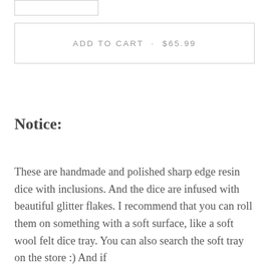ADD TO CART · $65.99
Notice:
These are handmade and polished sharp edge resin dice with inclusions. And the dice are infused with beautiful glitter flakes. I recommend that you can roll them on something with a soft surface, like a soft wool felt dice tray. You can also search the soft tray on the store :) And if